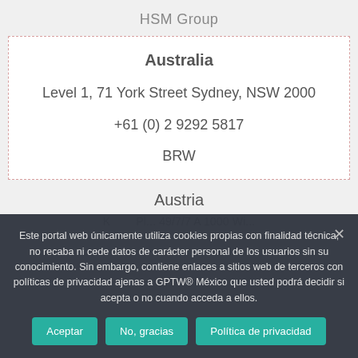HSM Group
Australia
Level 1, 71 York Street Sydney, NSW 2000
+61 (0) 2 9292 5817
BRW
Austria
K... Pl... 49/7/7 A 1000 Wi...
Este portal web únicamente utiliza cookies propias con finalidad técnica, no recaba ni cede datos de carácter personal de los usuarios sin su conocimiento. Sin embargo, contiene enlaces a sitios web de terceros con políticas de privacidad ajenas a GPTW® México que usted podrá decidir si acepta o no cuando acceda a ellos.